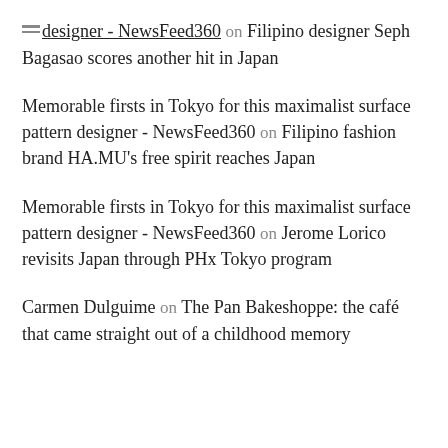designer - NewsFeed360 on Filipino designer Seph Bagasao scores another hit in Japan
Memorable firsts in Tokyo for this maximalist surface pattern designer - NewsFeed360 on Filipino fashion brand HA.MU's free spirit reaches Japan
Memorable firsts in Tokyo for this maximalist surface pattern designer - NewsFeed360 on Jerome Lorico revisits Japan through PHx Tokyo program
Carmen Dulguime on The Pan Bakeshoppe: the café that came straight out of a childhood memory